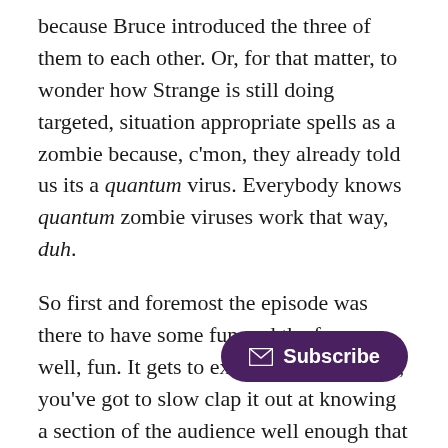because Bruce introduced the three of them to each other. Or, for that matter, to wonder how Strange is still doing targeted, situation appropriate spells as a zombie because, c'mon, they already told us its a quantum virus. Everybody knows quantum zombie viruses work that way, duh.
So first and foremost the episode was there to have some fun and the fun was, well, fun. It gets to exist. And let's face it, you've got to slow clap it out at knowing a section of the audience well enough that if you've picked Bucky out of a hat of which characters to include in the story you may as well go full fanservice and introduce a reason to show him nake[d]... even if the stated reason why never c[ame]... [o]n vaguely hinted at ever again for the rest of the 32